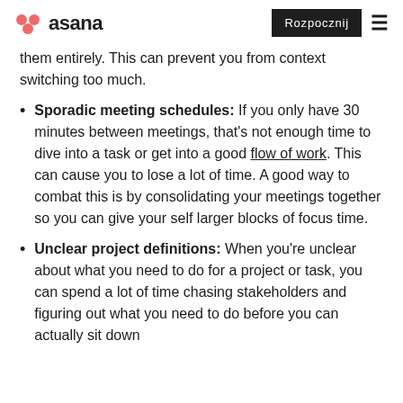asana | Rozpocznij
them entirely. This can prevent you from context switching too much.
Sporadic meeting schedules: If you only have 30 minutes between meetings, that's not enough time to dive into a task or get into a good flow of work. This can cause you to lose a lot of time. A good way to combat this is by consolidating your meetings together so you can give your self larger blocks of focus time.
Unclear project definitions: When you're unclear about what you need to do for a project or task, you can spend a lot of time chasing stakeholders and figuring out what you need to do before you can actually sit down